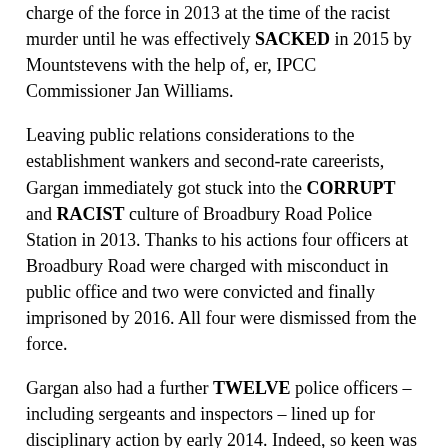charge of the force in 2013 at the time of the racist murder until he was effectively SACKED in 2015 by Mountstevens with the help of, er, IPCC Commissioner Jan Williams.
Leaving public relations considerations to the establishment wankers and second-rate careerists, Gargan immediately got stuck into the CORRUPT and RACIST culture of Broadbury Road Police Station in 2013. Thanks to his actions four officers at Broadbury Road were charged with misconduct in public office and two were convicted and finally imprisoned by 2016. All four were dismissed from the force.
Gargan also had a further TWELVE police officers – including sergeants and inspectors – lined up for disciplinary action by early 2014. Indeed, so keen was Gargan to discipline the RACISTS and SCUMBAGS in his force he formally complained to the IPCC's Jan Williams regarding the ridiculous length of time her investigation was taking as it was delaying him from taking action against racists and incompetents.